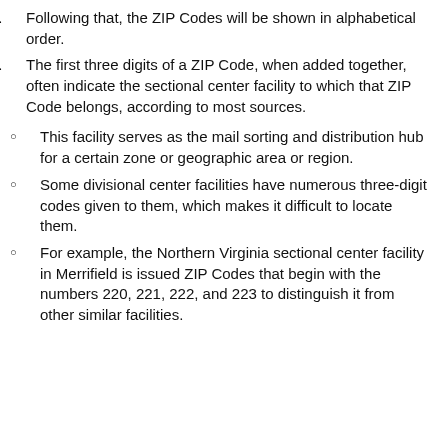3. Following that, the ZIP Codes will be shown in alphabetical order.
4. The first three digits of a ZIP Code, when added together, often indicate the sectional center facility to which that ZIP Code belongs, according to most sources.
This facility serves as the mail sorting and distribution hub for a certain zone or geographic area or region.
Some divisional center facilities have numerous three-digit codes given to them, which makes it difficult to locate them.
For example, the Northern Virginia sectional center facility in Merrifield is issued ZIP Codes that begin with the numbers 220, 221, 222, and 223 to distinguish it from other similar facilities.